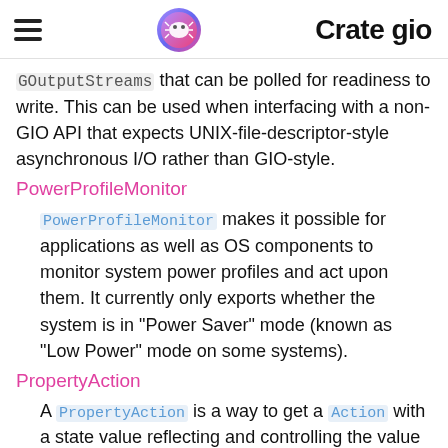Crate gio
GOutputStreams that can be polled for readiness to write. This can be used when interfacing with a non-GIO API that expects UNIX-file-descriptor-style asynchronous I/O rather than GIO-style.
PowerProfileMonitor
PowerProfileMonitor makes it possible for applications as well as OS components to monitor system power profiles and act upon them. It currently only exports whether the system is in "Power Saver" mode (known as "Low Power" mode on some systems).
PropertyAction
A PropertyAction is a way to get a Action with a state value reflecting and controlling the value of a glib::Object property.
Proxy
A Proxy handles connecting to a remote host via a